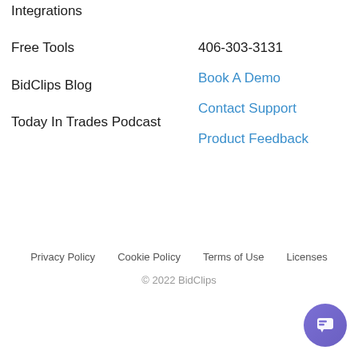Integrations
Free Tools
BidClips Blog
Today In Trades Podcast
406-303-3131
Book A Demo
Contact Support
Product Feedback
Privacy Policy   Cookie Policy   Terms of Use   Licenses
© 2022 BidClips